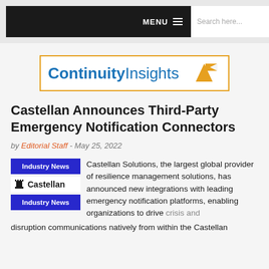MENU  Search here...
[Figure (logo): Continuity Insights logo in orange bordered box with arrow]
Castellan Announces Third-Party Emergency Notification Connectors
by Editorial Staff - May 25, 2022
Castellan Solutions, the largest global provider of resilience management solutions, has announced new integrations with leading emergency notification platforms, enabling organizations to drive crisis and disruption communications natively from within the Castellan